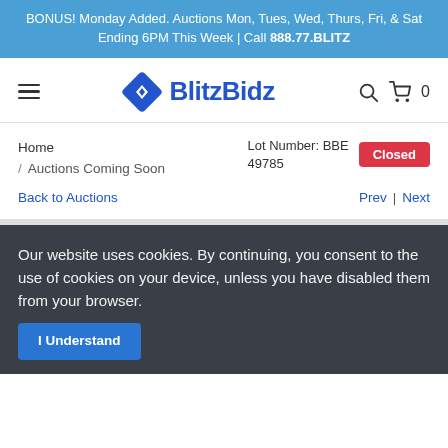BONUS! Monday Added. Auctions Mon, Tues, Wed, Thurs, Fri, & Sat Ending 6PM This Week | Call 888.77.BLITZ
[Figure (logo): BlitzBidz logo with blue diamond shape and text BlitzBidz]
Home / Auctions Coming Soon
Lot Number: BBE 49785
Closed
Back to Auctions
Prev | Next
Our website uses cookies. By continuing, you consent to the use of cookies on your device, unless you have disabled them from your browser.
I Understand